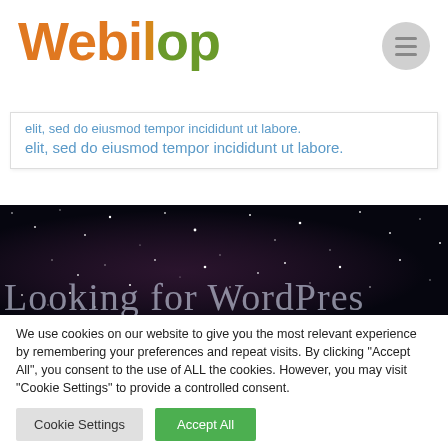[Figure (logo): Webilop logo with orange and green gradient lettering]
elit, sed do eiusmod tempor incididunt ut labore.
[Figure (photo): Dark night sky with stars banner, text 'Looking for WordPress' in light color]
We use cookies on our website to give you the most relevant experience by remembering your preferences and repeat visits. By clicking "Accept All", you consent to the use of ALL the cookies. However, you may visit "Cookie Settings" to provide a controlled consent.
Cookie Settings | Accept All